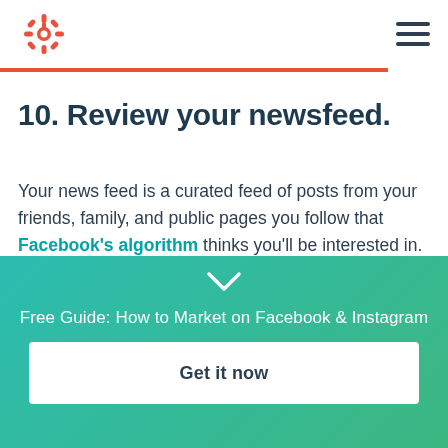HubSpot logo and navigation menu
10. Review your newsfeed.
Your news feed is a curated feed of posts from your friends, family, and public pages you follow that Facebook's algorithm thinks you'll be interested in. You'll also see ads from brands who think you'll enjoy
[Figure (other): Teal to green gradient CTA banner with chevron down arrow, text 'Free Guide: How to Market on Facebook & Instagram', and a white button 'Get it now']
Free Guide: How to Market on Facebook & Instagram
Get it now